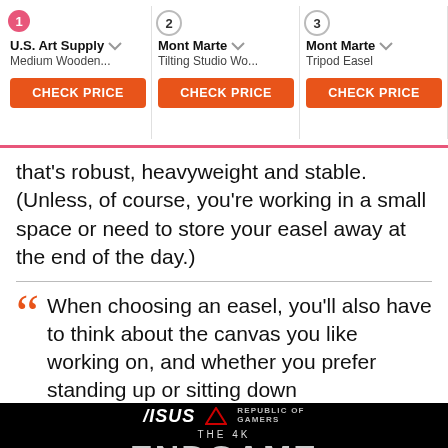[Figure (screenshot): Product carousel showing 4 easel products: 1. U.S. Art Supply Medium Wooden... 2. Mont Marte Tilting Studio Wo... 3. Mont Marte Tripod Easel 4. Meeder Heavy Duty T... Each with orange CHECK PRICE button. Pink underline at bottom.]
that's robust, heavyweight and stable. (Unless, of course, you're working in a small space or need to store your easel away at the end of the day.)
When choosing an easel, you'll also have to think about the canvas you like working on, and whether you prefer standing up or sitting down
[Figure (screenshot): ASUS ROG advertisement: The 4K ENDGAME gaming monitor. Dark background with logo text.]
[Figure (screenshot): Advertisement for Defy Smart Robot Platform Supply with blue Open button and triangle logo.]